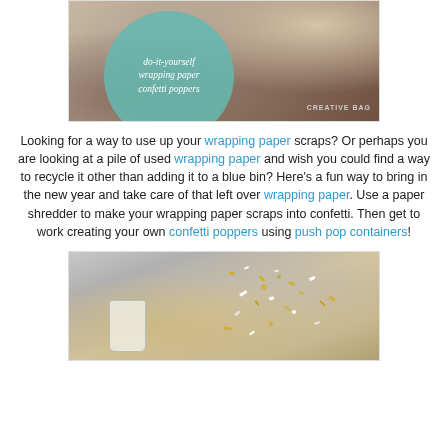[Figure (photo): DIY wrapping paper confetti poppers promotional image with teal circle overlay containing script text 'do-it-yourself wrapping paper confetti poppers' and 'CREATIVE BAG' watermark]
Looking for a way to use up your wrapping paper scraps? Or perhaps you are looking at a pile of used wrapping paper and wish you could find a way to recycle it other than adding it to a blue bin? Here's a fun way to bring in the new year and take care of that left over wrapping paper. Use a paper shredder to make your wrapping paper scraps into confetti. Then get to work creating your own confetti poppers using push pop containers!
[Figure (photo): Photo of confetti poppers made from push pop containers filled with gold and white confetti pieces, with confetti exploding out]